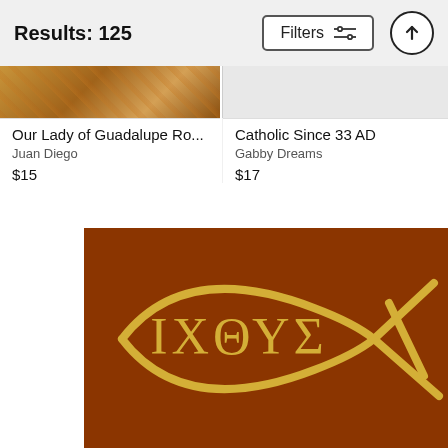Results: 125
[Figure (screenshot): Top portion of product image for Our Lady of Guadalupe Ro... showing floral design on warm background]
[Figure (screenshot): Top portion of product image for Catholic Since 33 AD on light background]
Our Lady of Guadalupe Ro...
Juan Diego
$15
Catholic Since 33 AD
Gabby Dreams
$17
[Figure (illustration): Ichthys (Jesus fish) symbol in gold on dark burnt orange/brown background with Greek letters ΙΧΘΥΣ inside the fish shape]